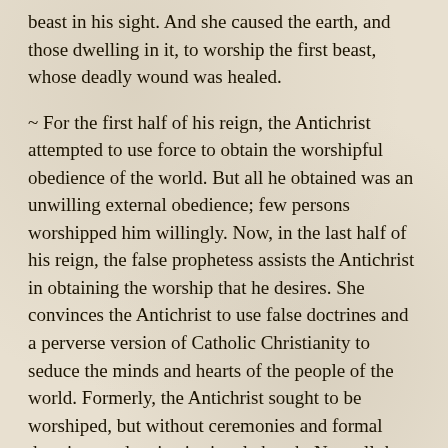beast in his sight. And she caused the earth, and those dwelling in it, to worship the first beast, whose deadly wound was healed.
~ For the first half of his reign, the Antichrist attempted to use force to obtain the worshipful obedience of the world. But all he obtained was an unwilling external obedience; few persons worshipped him willingly. Now, in the last half of his reign, the false prophetess assists the Antichrist in obtaining the worship that he desires. She convinces the Antichrist to use false doctrines and a perverse version of Catholic Christianity to seduce the minds and hearts of the people of the world. Formerly, the Antichrist sought to be worshiped, but without ceremonies and formal doctrines and an institutional church. Now all the peoples of the world are pressured into joining in this false worship. Formerly closed Catholic churches are reopened and dedicated to this new evil purpose; new churches are built for this false worship. The false prophetess is a woman